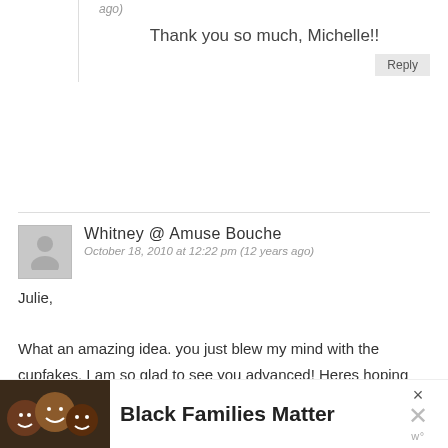ago)
Thank you so much, Michelle!!
Reply
Whitney @ Amuse Bouche
October 18, 2010 at 12:22 pm (12 years ago)
Julie,

What an amazing idea. you just blew my mind with the cupfakes. I am so glad to see you advanced! Heres hoping we have another round with you!!
Reply
Julie @ Willow Bird Baking
Black Families Matter